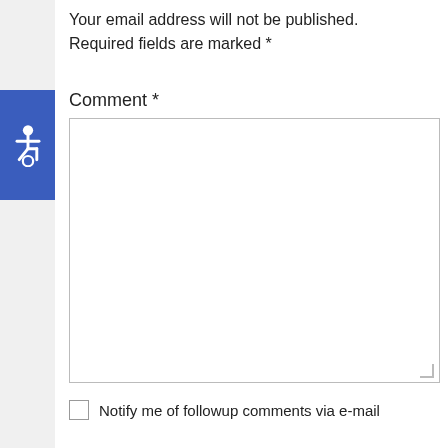Your email address will not be published. Required fields are marked *
[Figure (illustration): Blue accessibility widget icon showing wheelchair user symbol]
Comment *
(empty comment text area)
Notify me of followup comments via e-mail